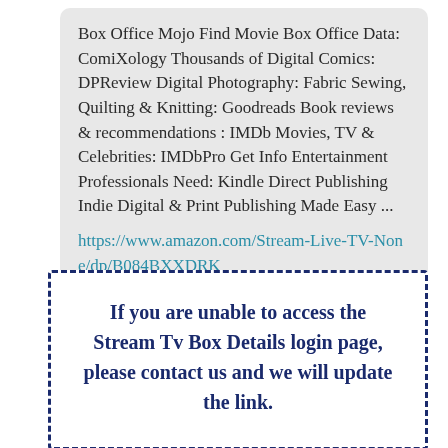Box Office Mojo Find Movie Box Office Data: ComiXology Thousands of Digital Comics: DPReview Digital Photography: Fabric Sewing, Quilting & Knitting: Goodreads Book reviews & recommendations : IMDb Movies, TV & Celebrities: IMDbPro Get Info Entertainment Professionals Need: Kindle Direct Publishing Indie Digital & Print Publishing Made Easy ... https://www.amazon.com/Stream-Live-TV-None/dp/B084BXXDRK
If you are unable to access the Stream Tv Box Details login page, please contact us and we will update the link.